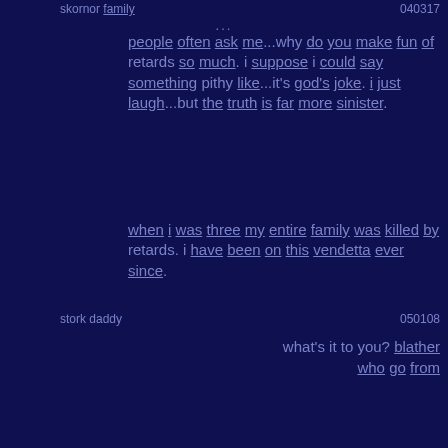skornor family  040317
...
people often ask me...why do you make fun of retards so much. i suppose i could say something pithy like...it's god's joke. i just laugh...but the truth is far more sinister.
when i was three my entire family was killed by retards. i have been on this vendetta ever since.
stork daddy   050108
what's it to you? blather who go from